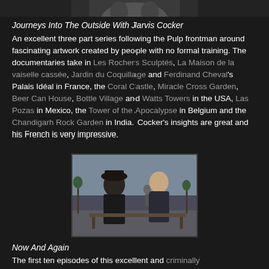[Figure (photo): Top portion of a photo, partially cropped, showing a person's face/upper body against a light background]
Journeys Into The Outside With Jarvis Cocker
An excellent three part series following the Pulp frontman around fascinating artwork created by people with no formal training. The documentaries take in Les Rochers Sculptés, La Maison de la vaiselle cassée, Jardin du Coquillage and Ferdinand Cheval's Palais Idéal in France, the Coral Castle, Miracle Cross Garden, Beer Can House, Bottle Village and Watts Towers in the USA, Las Pozas in Mexico, the Tower of the Apocalypse in Belgium and the Chandigarh Rock Garden in India. Cocker's insights are great and his French is very impressive.
[Figure (photo): Two men sitting on a park bench outdoors in winter, one wearing a black hat and dark coat, the other in a leather jacket, appearing to have a conversation]
Now And Again
The first ten episodes of this excellent and criminally